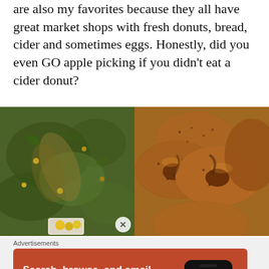are also my favorites because they all have great market shops with fresh donuts, bread, cider and sometimes eggs. Honestly, did you even GO apple picking if you didn't eat a cider donut?
[Figure (photo): Aerial/overhead view of apple orchard ground with grass, fallen apples, and a bag of picked apples at bottom]
[Figure (photo): Close-up of several cider donuts coated in cinnamon sugar]
Advertisements
[Figure (other): DuckDuckGo advertisement banner: Search, browse, and email with more privacy. All in One Free App. Shows DuckDuckGo logo on a phone screen.]